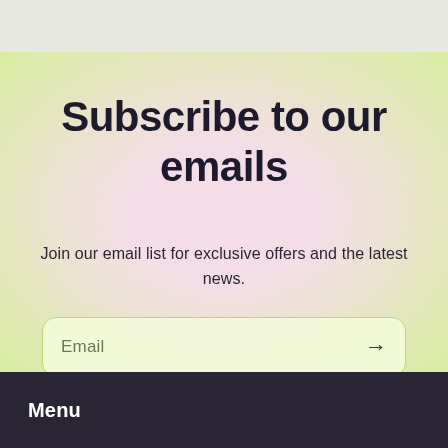Subscribe to our emails
Join our email list for exclusive offers and the latest news.
Email →
Menu